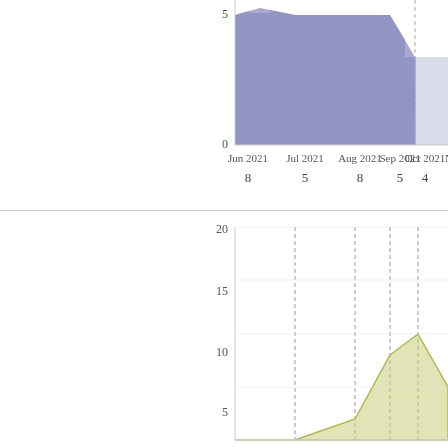[Figure (area-chart): Top chart (area, blue-purple)]
[Figure (area-chart): Bottom chart (area, yellow-green)]